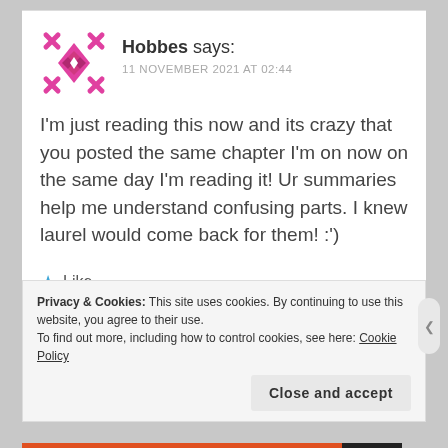[Figure (illustration): Pink/magenta decorative avatar icon with geometric diamond/cross pattern]
Hobbes says:
11 NOVEMBER 2021 AT 02:44
I'm just reading this now and its crazy that you posted the same chapter I'm on now on the same day I'm reading it! Ur summaries help me understand confusing parts. I knew laurel would come back for them! :')
★ Like
Privacy & Cookies: This site uses cookies. By continuing to use this website, you agree to their use.
To find out more, including how to control cookies, see here: Cookie Policy
Close and accept